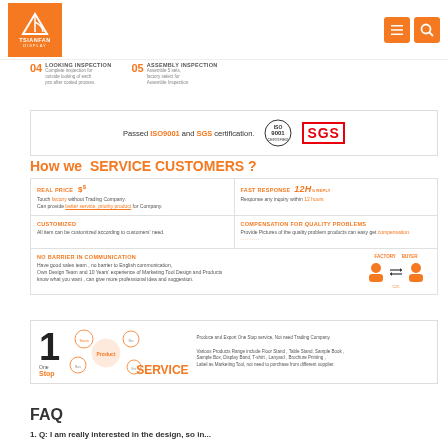[Figure (logo): TSIANFAN DISPLAY logo - orange square with white sailboat icon and text]
[Figure (other): Navigation icons - hamburger menu and search icon in orange]
04 LOOKING INSPECTION - Complete inspection for outside looking of each pcs after coated process. 05 ASSEMBLY INSPECTION - Assemble 5 sets, factory select for Assemble Inspection.
Passed ISO9001 and SGS certification.
How we  SERVICE CUSTOMERS ?
REAL PRICE $$ - Touch factory without Trading Company. Can provide better service, priority product for Company.
FAST RESPONSE 12h - Response any inquiry within 12 hours
CUSTOMIZED - All item can be customized according to customers' need.
COMPENSATION FOR QUALITY PROBLEMS - Provide Pictures of the quality problem products can easy get compensation.
NO BARRIER IN COMMUNICATION - Have good sales team, no barrier to English communication. Own Design Team and 10 Years' experience of Marketing Tool Design and Products know what you want, can give more professional idea and suggestion.
[Figure (illustration): Factory to Buyer arrow diagram with orange person icons]
[Figure (infographic): One Stop Service infographic with bubble diagram showing Product, Team, No, Box categories and large number 1]
Produce and Export One Stop service, Not need Trading Company. Various Products Range include Floor Stand, Table Stand, Sample Book, Sample Box, Display Band, T-shirt, Lanyard, Brochure Printing, Label as Marketing Tool, not need to purchase from different supplier.
FAQ
1. Q: I am really interested in the design, so in...